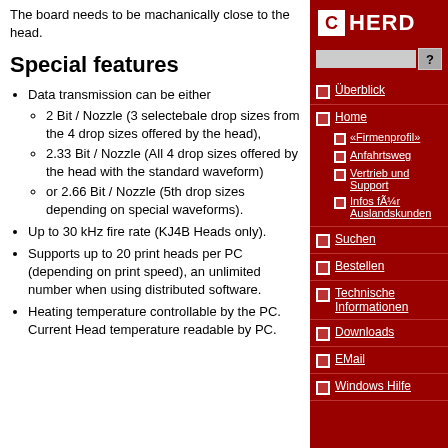The board needs to be machanically close to the head.
Special features
Data transmission can be either
2 Bit / Nozzle (3 selectebale drop sizes from the 4 drop sizes offered by the head),
2.33 Bit / Nozzle (All 4 drop sizes offered by the head with the standard waveform)
or 2.66 Bit / Nozzle (5th drop sizes depending on special waveforms).
Up to 30 kHz fire rate (KJ4B Heads only).
Supports up to 20 print heads per PC (depending on print speed), an unlimited number when using distributed software.
Heating temperature controllable by the PC. Current Head temperature readable by PC.
[Figure (logo): CHERD logo - white C in red square followed by HERD text in white on red background]
Überblick
Home
«Firmenprofil»
Anfahrtsweg
Vertrieb und Support
Infos für Auslandskunden
Suchen
Bestellen
Technische Informationen
Downloads
EMail
Windows Hilfe